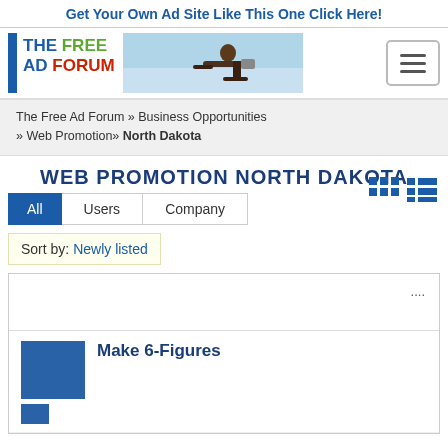Get Your Own Ad Site Like This One Click Here!
[Figure (logo): The Free Ad Forum logo with blue vertical bar, colored text and person relaxing on beach with laptop photo]
The Free Ad Forum » Business Opportunities » Web Promotion» North Dakota
WEB PROMOTION NORTH DAKOTA
All | Users | Company
Sort by: Newly listed
....
Make 6-Figures